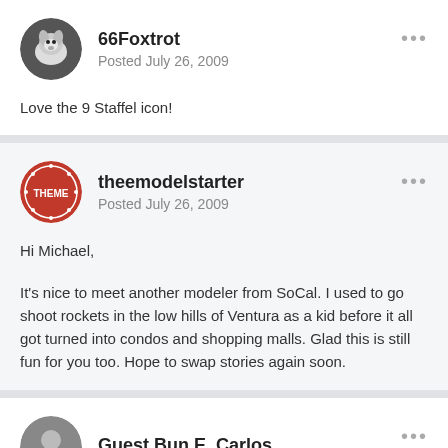66Foxtrot
Posted July 26, 2009
Love the 9 Staffel icon!
theemodelstarter
Posted July 26, 2009
Hi Michael,
It's nice to meet another modeler from SoCal. I used to go shoot rockets in the low hills of Ventura as a kid before it all got turned into condos and shopping malls. Glad this is still fun for you too. Hope to swap stories again soon.
Guest Bun E. Carlos